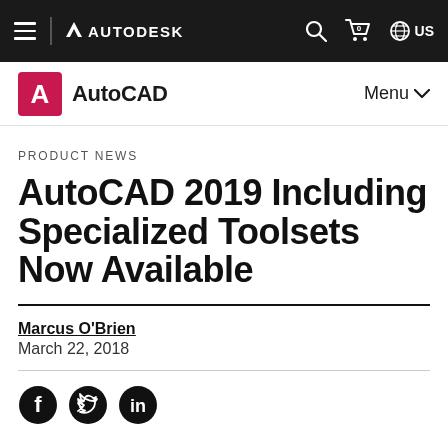AUTODESK navigation bar with hamburger menu, Autodesk logo, search, cart, and US locale icons
[Figure (logo): AutoCAD product logo with red A icon and AutoCAD text, with Menu dropdown on the right]
PRODUCT NEWS
AutoCAD 2019 Including Specialized Toolsets Now Available
Marcus O'Brien
March 22, 2018
[Figure (other): Social media share icons: Facebook, Twitter, LinkedIn]